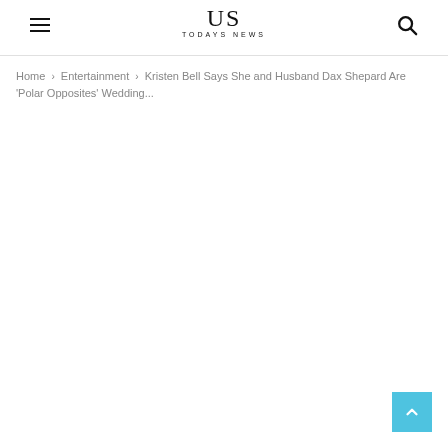US TODAYS NEWS
Home › Entertainment › Kristen Bell Says She and Husband Dax Shepard Are 'Polar Opposites' Wedding...